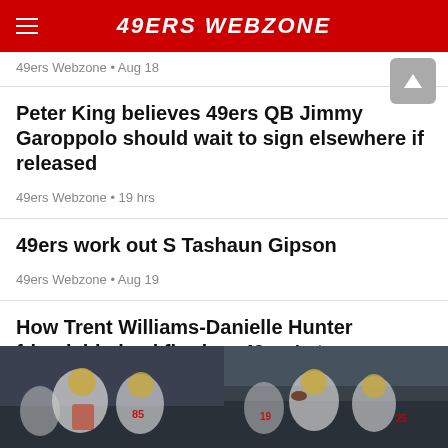49ERS WEBZONE
49ers Webzone • Aug 18
Peter King believes 49ers QB Jimmy Garoppolo should wait to sign elsewhere if released
49ers Webzone • 19 hrs
49ers work out S Tashaun Gipson
49ers Webzone • Aug 19
How Trent Williams-Danielle Hunter friendship backfired on 49ers' star
NBCS Bay Area • 18 hrs
All News
[Figure (photo): 49ers players in white uniforms on the field, number 85 visible]
[Figure (photo): 49ers players in white uniforms, quarterback throwing]